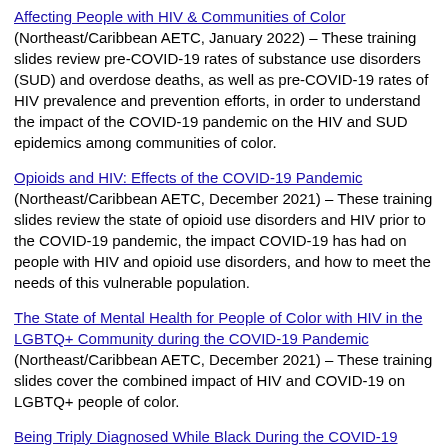Affecting People with HIV & Communities of Color (Northeast/Caribbean AETC, January 2022) – These training slides review pre-COVID-19 rates of substance use disorders (SUD) and overdose deaths, as well as pre-COVID-19 rates of HIV prevalence and prevention efforts, in order to understand the impact of the COVID-19 pandemic on the HIV and SUD epidemics among communities of color.
Opioids and HIV: Effects of the COVID-19 Pandemic (Northeast/Caribbean AETC, December 2021) – These training slides review the state of opioid use disorders and HIV prior to the COVID-19 pandemic, the impact COVID-19 has had on people with HIV and opioid use disorders, and how to meet the needs of this vulnerable population.
The State of Mental Health for People of Color with HIV in the LGBTQ+ Community during the COVID-19 Pandemic (Northeast/Caribbean AETC, December 2021) – These training slides cover the combined impact of HIV and COVID-19 on LGBTQ+ people of color.
Being Triply Diagnosed While Black During the COVID-19 Pandemic (Northeast/Caribbean AETC, November 2021) – These training slides examine mental illness through a cultural lens to review the impact of COVID-19 on the Black...